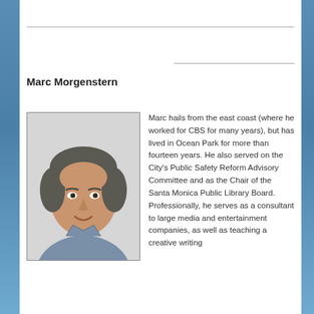Marc Morgenstern
[Figure (photo): Headshot of Marc Morgenstern, a middle-aged man with dark grey hair wearing a grey button-up shirt, smiling, photographed against a light background.]
Marc hails from the east coast (where he worked for CBS for many years), but has lived in Ocean Park for more than fourteen years. He also served on the City's Public Safety Reform Advisory Committee and as the Chair of the Santa Monica Public Library Board. Professionally, he serves as a consultant to large media and entertainment companies, as well as teaching a creative writing